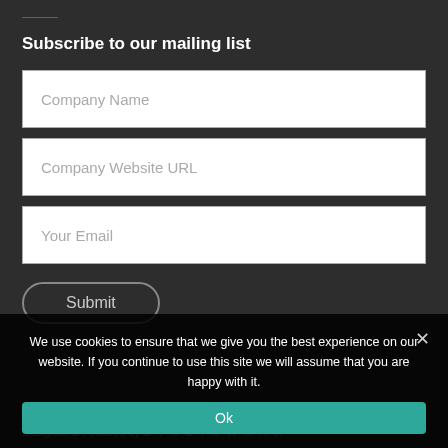...
Subscribe to our mailing list
Company Name
Company Website URL
Your Email
Submit
Copyright ©2022 Manufacturing Today. All rights reserved. Designed & Powered by STUDIOWORX
We use cookies to ensure that we give you the best experience on our website. If you continue to use this site we will assume that you are happy with it.
Ok